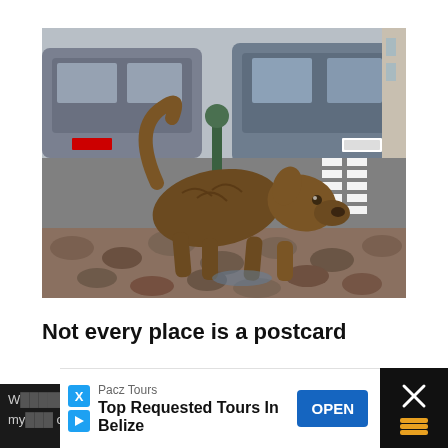[Figure (photo): Bronze statue of a dog in a defecating pose on cobblestone street, with cars and a zebra crossing visible in the background. A green ball-topped bollard is visible near the dog's back.]
Not every place is a postcard
W... [partially visible text on dark background] ...a f... my... ...on ...d it
[Figure (other): Advertisement banner: Pacz Tours - Top Requested Tours In Belize, with OPEN button]